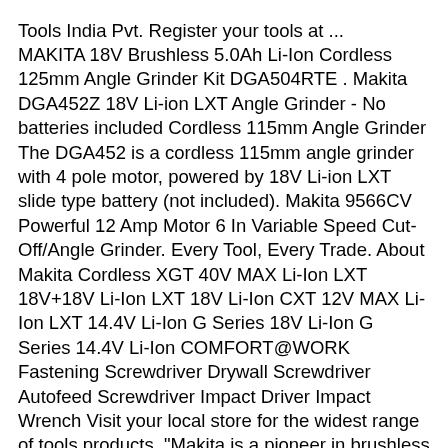Tools India Pvt. Register your tools at ... MAKITA 18V Brushless 5.0Ah Li-Ion Cordless 125mm Angle Grinder Kit DGA504RTE . Makita DGA452Z 18V Li-ion LXT Angle Grinder - No batteries included Cordless 115mm Angle Grinder The DGA452 is a cordless 115mm angle grinder with 4 pole motor, powered by 18V Li-ion LXT slide type battery (not included). Makita 9566CV Powerful 12 Amp Motor 6 In Variable Speed Cut-Off/Angle Grinder. Every Tool, Every Trade. About Makita Cordless XGT 40V MAX Li-Ion LXT 18V+18V Li-Ion LXT 18V Li-Ion CXT 12V MAX Li-Ion LXT 14.4V Li-Ion G Series 18V Li-Ion G Series 14.4V Li-Ion COMFORT@WORK Fastening Screwdriver Drywall Screwdriver Autofeed Screwdriver Impact Driver Impact Wrench Visit your local store for the widest range of tools products. "Makita is a pioneer in brushless motor technology in cordless tools and the leader in the category," said Carlos Quintana, Senior Product Manager, Cordless Products, Makita USA. Angle Grinder 100mm/4" Angle Grinder 115mm/4.5" Angle Grinder 125mm/5" Angle Grinder 150mm/6" ... 18V Li-Ion Cordless Angle Grinder DGA452RTEU2NL733411Tools...